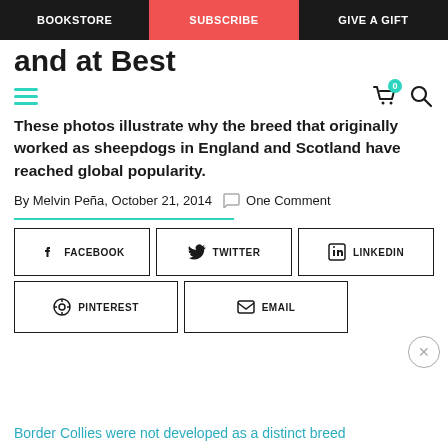BOOKSTORE | SUBSCRIBE | GIVE A GIFT
and at Best
These photos illustrate why the breed that originally worked as sheepdogs in England and Scotland have reached global popularity.
By Melvin Peña, October 21, 2014  One Comment
FACEBOOK  TWITTER  LINKEDIN
PINTEREST  EMAIL
Border Collies were not developed as a distinct breed